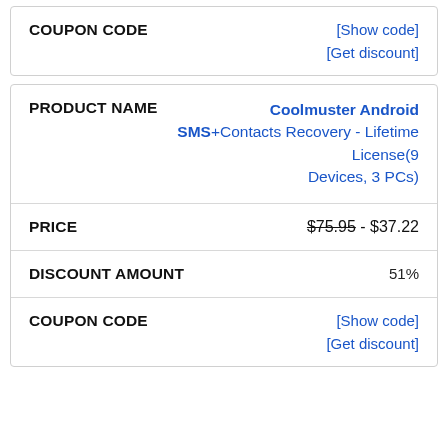| Field | Value |
| --- | --- |
| COUPON CODE | [Show code]
[Get discount] |
| Field | Value |
| --- | --- |
| PRODUCT NAME | Coolmuster Android SMS+Contacts Recovery - Lifetime License(9 Devices, 3 PCs) |
| PRICE | $75.95 - $37.22 |
| DISCOUNT AMOUNT | 51% |
| COUPON CODE | [Show code]
[Get discount] |